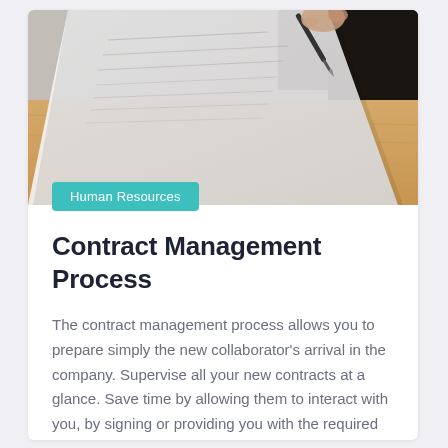[Figure (photo): Person signing a document with a pen on a wooden desk, viewed from above at an angle. White paper with handwritten text visible.]
Human Resources
Contract Management Process
The contract management process allows you to prepare simply the new collaborator's arrival in the company. Supervise all your new contracts at a glance. Save time by allowing them to interact with you, by signing or providing you with the required documents, and by moving the